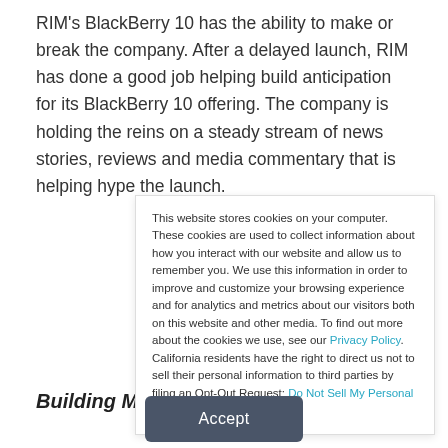RIM's BlackBerry 10 has the ability to make or break the company. After a delayed launch, RIM has done a good job helping build anticipation for its BlackBerry 10 offering. The company is holding the reins on a steady stream of news stories, reviews and media commentary that is helping hype the launch.
Building Momentum
This website stores cookies on your computer. These cookies are used to collect information about how you interact with our website and allow us to remember you. We use this information in order to improve and customize your browsing experience and for analytics and metrics about our visitors both on this website and other media. To find out more about the cookies we use, see our Privacy Policy. California residents have the right to direct us not to sell their personal information to third parties by filing an Opt-Out Request: Do Not Sell My Personal Info.
Accept